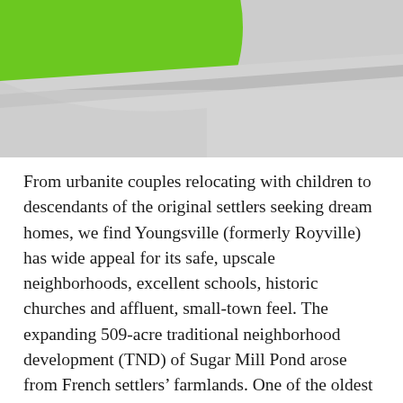[Figure (photo): Aerial or close-up view of a green grass lawn with a curved edge meeting a concrete sidewalk or driveway. The grass forms a rounded arc on the left side, and light gray concrete fills the right portion.]
From urbanite couples relocating with children to descendants of the original settlers seeking dream homes, we find Youngsville (formerly Royville) has wide appeal for its safe, upscale neighborhoods, excellent schools, historic churches and affluent, small-town feel. The expanding 509-acre traditional neighborhood development (TND) of Sugar Mill Pond arose from French settlers' farmlands. One of the oldest churches in the Diocese of Lafayette, St. Anne emerged in 1859 when Desiré Roy donated nine